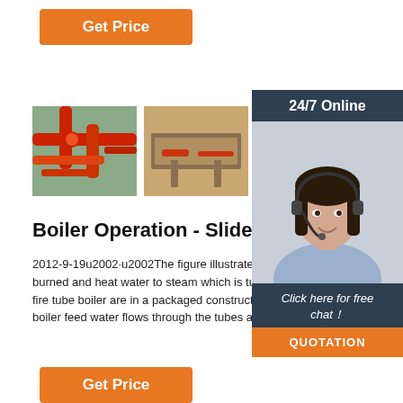[Figure (other): Orange 'Get Price' button at top]
[Figure (photo): Row of industrial boiler/pipe images: red pipe systems, industrial equipment, tubes]
Boiler Operation - SlideShare
2012-9-19u2002·u2002The figure illustrates how a fire tube boiler works. The fuel is burned and heat converts water to steam which is turn channeled to the process. Today, most fire tube boiler are in a packaged construction for all fuels. In a water tube boiler, boiler feed water flows through the tubes and enters the boiler drum.
[Figure (other): Orange 'Get Price' button at bottom]
[Figure (photo): Right side overlay panel: '24/7 Online' header, customer service agent photo with headset, 'Click here for free chat!' text, orange QUOTATION button]